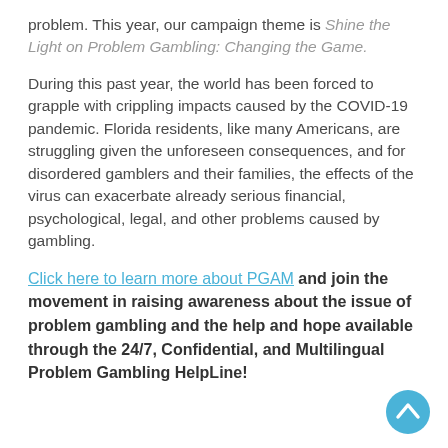problem. This year, our campaign theme is Shine the Light on Problem Gambling: Changing the Game.
During this past year, the world has been forced to grapple with crippling impacts caused by the COVID-19 pandemic. Florida residents, like many Americans, are struggling given the unforeseen consequences, and for disordered gamblers and their families, the effects of the virus can exacerbate already serious financial, psychological, legal, and other problems caused by gambling.
Click here to learn more about PGAM and join the movement in raising awareness about the issue of problem gambling and the help and hope available through the 24/7, Confidential, and Multilingual Problem Gambling HelpLine!